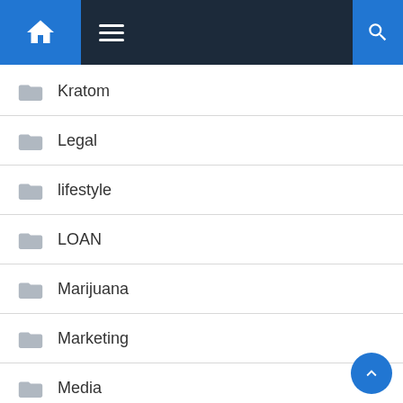Navigation bar with home, menu, and search icons
Kratom
Legal
lifestyle
LOAN
Marijuana
Marketing
Media
Medical
money